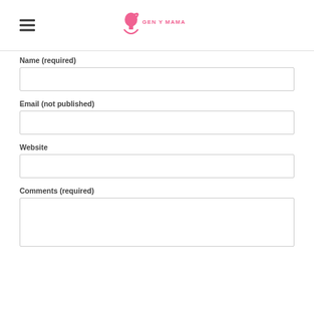[Figure (logo): Gen Y Mama logo — pink silhouette of a woman's head with pink 'GEN Y MAMA' text beside it]
Name (required)
Email (not published)
Website
Comments (required)